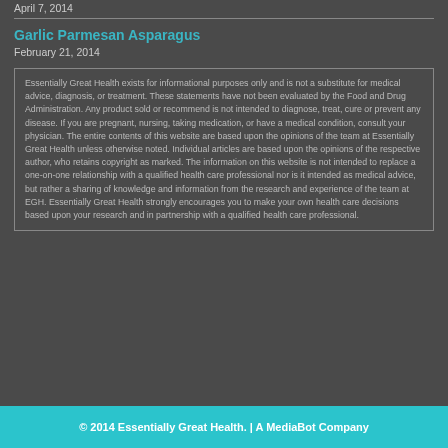April 7, 2014
Garlic Parmesan Asparagus
February 21, 2014
Essentially Great Health exists for informational purposes only and is not a substitute for medical advice, diagnosis, or treatment. These statements have not been evaluated by the Food and Drug Administration. Any product sold or recommend is not intended to diagnose, treat, cure or prevent any disease. If you are pregnant, nursing, taking medication, or have a medical condition, consult your physician. The entire contents of this website are based upon the opinions of the team at Essentially Great Health unless otherwise noted. Individual articles are based upon the opinions of the respective author, who retains copyright as marked. The information on this website is not intended to replace a one-on-one relationship with a qualified health care professional nor is it intended as medical advice, but rather a sharing of knowledge and information from the research and experience of the team at EGH. Essentially Great Health strongly encourages you to make your own health care decisions based upon your research and in partnership with a qualified health care professional.
© 2014 Essentially Great Health.  |  A MediaBot Company